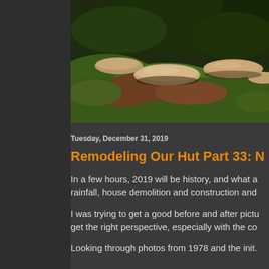[Figure (photo): Outdoor garden/yard scene showing large rocks arranged along a grassy slope, with green grass and dark foliage in the background.]
Tuesday, December 31, 2019
Remodeling Our Hut Part 33: New Yea
In a few hours, 2019 will be history, and what a rainfall, house demolition and construction and
I was trying to get a good before and after pictu get the right perspective, especially with the co
Looking through photos from 1978 and the init.